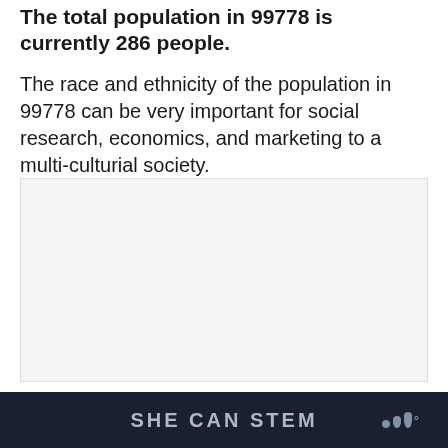The total population in 99778 is currently 286 people.
The race and ethnicity of the population in 99778 can be very important for social research, economics, and marketing to a multi-culturial society.
[Figure (other): Advertisement placeholder box with light gray background]
SHE CAN STEM